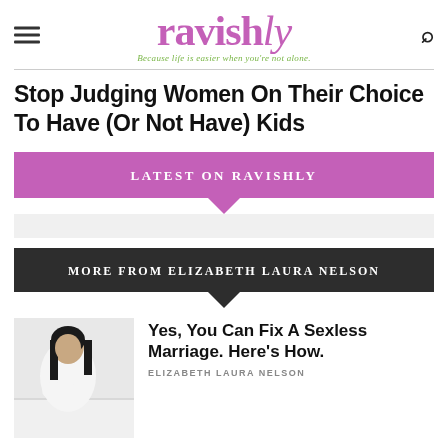ravishly — Because life is easier when you're not alone.
Stop Judging Women On Their Choice To Have (Or Not Have) Kids
LATEST ON RAVISHLY
MORE FROM ELIZABETH LAURA NELSON
[Figure (photo): Woman in white outfit sitting on a light-colored couch]
Yes, You Can Fix A Sexless Marriage. Here's How.
ELIZABETH LAURA NELSON